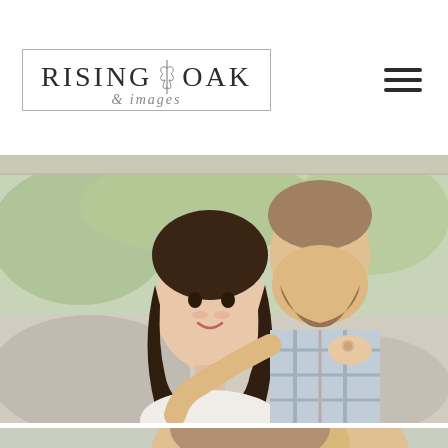Rising Oak Images — logo and navigation header
[Figure (photo): Partial view of couple engagement photo strip at top]
[Figure (photo): Close-up engagement photo: woman with long dark hair looks at camera, man with beard embraces her from behind, both in casual clothes, outdoor greenery background]
[Figure (photo): Partial view of second engagement photo: man with beard looks down at woman with dark hair, outdoor background — cropped at bottom of page]